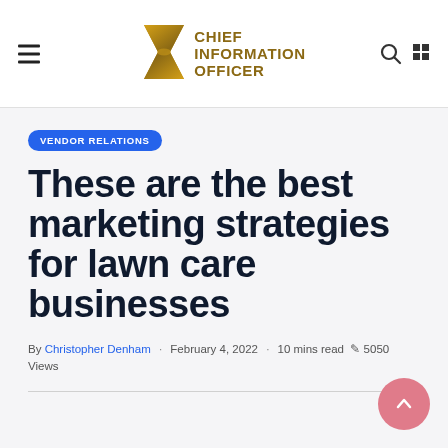Chief Information Officer
VENDOR RELATIONS
These are the best marketing strategies for lawn care businesses
By Christopher Denham · February 4, 2022 · 10 mins read 🖊 5050 Views